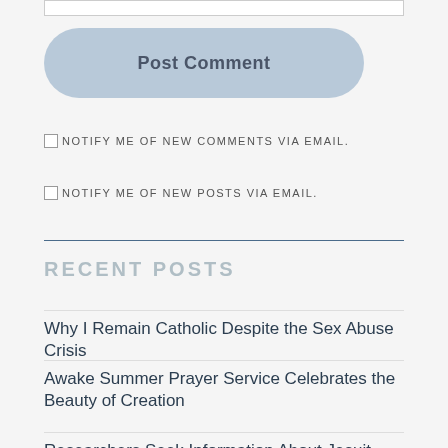[Figure (screenshot): Partially visible text input box at top of page]
[Figure (screenshot): Post Comment button, rounded rectangle with light blue background]
NOTIFY ME OF NEW COMMENTS VIA EMAIL.
NOTIFY ME OF NEW POSTS VIA EMAIL.
RECENT POSTS
Why I Remain Catholic Despite the Sex Abuse Crisis
Awake Summer Prayer Service Celebrates the Beauty of Creation
Researchers Seek Information About Jesuit Daniel